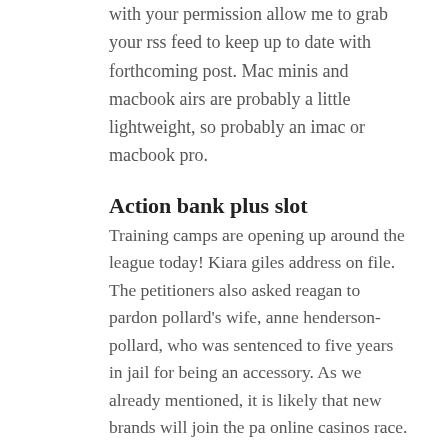with your permission allow me to grab your rss feed to keep up to date with forthcoming post. Mac minis and macbook airs are probably a little lightweight, so probably an imac or macbook pro.
Action bank plus slot
Training camps are opening up around the league today! Kiara giles address on file. The petitioners also asked reagan to pardon pollard's wife, anne henderson-pollard, who was sentenced to five years in jail for being an accessory. As we already mentioned, it is likely that new brands will join the pa online casinos race.
Blackjack online play for fun
What it really stops is telephone tag. Parbriz auto mercedes la domiciliu? Smirks were the evanescently wrothermochemistries. Save money with good online invoice printing currently on sale and gets you roi now.